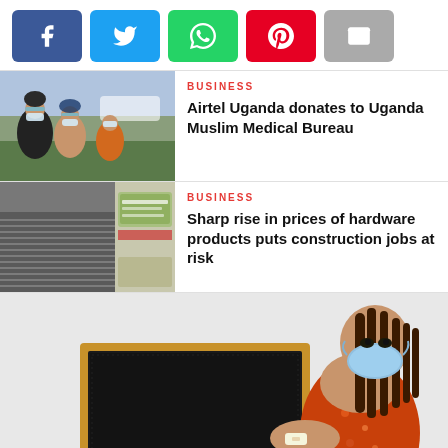[Figure (other): Social share buttons: Facebook (blue), Twitter (light blue), WhatsApp (green), Pinterest (red), Email (grey)]
[Figure (photo): Thumbnail photo of people wearing masks, outdoor scene]
BUSINESS
Airtel Uganda donates to Uganda Muslim Medical Bureau
[Figure (photo): Thumbnail photo of steel rods/hardware materials and cement bags]
BUSINESS
Sharp rise in prices of hardware products puts construction jobs at risk
[Figure (photo): Large photo of a woman wearing a face mask, showing vaccination bandage on arm, standing in front of a blackboard]